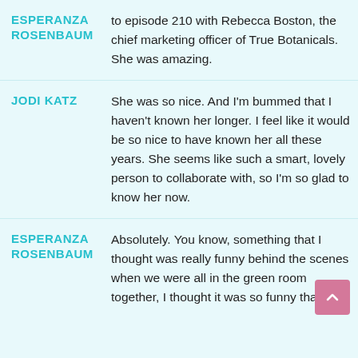ESPERANZA ROSENBAUM: to episode 210 with Rebecca Boston, the chief marketing officer of True Botanicals. She was amazing.
JODI KATZ: She was so nice. And I'm bummed that I haven't known her longer. I feel like it would be so nice to have known her all these years. She seems like such a smart, lovely person to collaborate with, so I'm so glad to know her now.
ESPERANZA ROSENBAUM: Absolutely. You know, something that I thought was really funny behind the scenes when we were all in the green room together, I thought it was so funny that all